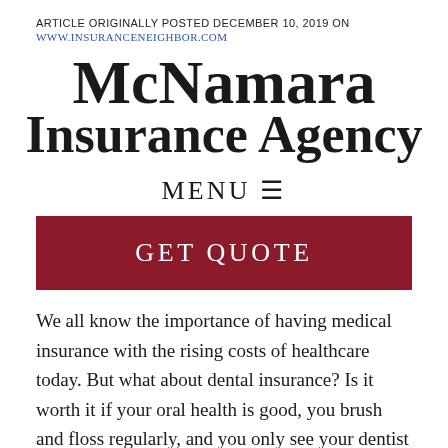ARTICLE ORIGINALLY POSTED DECEMBER 10, 2019 ON WWW.INSURANCENEIGHBOR.COM
McNamara Insurance Agency
MENU ☰
[Figure (other): GET QUOTE button — dark red/crimson banner]
We all know the importance of having medical insurance with the rising costs of healthcare today. But what about dental insurance? Is it worth it if your oral health is good, you brush and floss regularly, and you only see your dentist twice a year for a cleaning and exam?